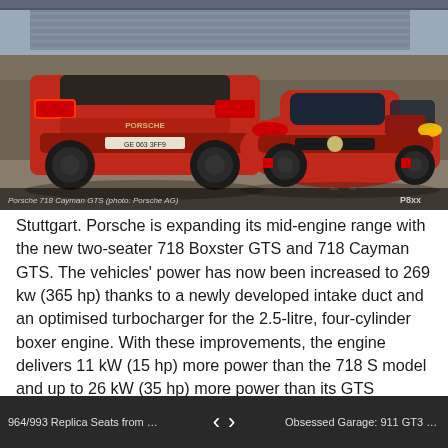[Figure (photo): Two red Porsche 718 GTS sports cars (one Boxster convertible, one Cayman coupe) photographed from behind/side on a racing circuit with grandstands visible in the background. Caption reads: Porsche 718 Cayman GTS (photo: Porsche AG). Logo P8xx visible in bottom right.]
Porsche 718 Cayman GTS (photo: Porsche AG)   P8xx
Stuttgart. Porsche is expanding its mid-engine range with the new two-seater 718 Boxster GTS and 718 Cayman GTS. The vehicles' power has now been increased to 269 kw (365 hp) thanks to a newly developed intake duct and an optimised turbocharger for the 2.5-litre, four-cylinder boxer engine. With these improvements, the engine delivers 11 kW (15 hp) more power than the 718 S model and up to 26 kW (35 hp) more power than its GTS predecessor models with naturally aspirated engines. The new mid-engine sports cars are available with manual six-speed transmission or optional Porsche Doppelkupplung (PDK). The GTS vehicles are equipped with a host of options as standard, such as the Sport Chrono Package,
964/993 Replica Seats from Cult-...   ‹   ›   Obsessed Garage: 911 GT3 RS - F...